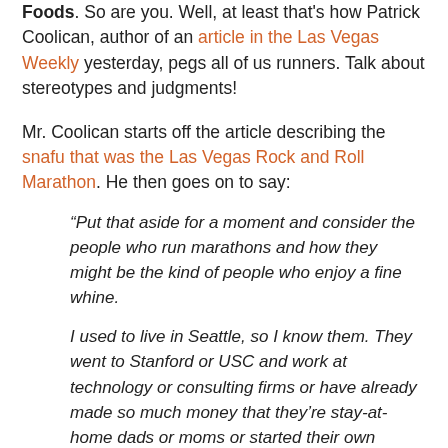Foods. So are you. Well, at least that's how Patrick Coolican, author of an article in the Las Vegas Weekly yesterday, pegs all of us runners. Talk about stereotypes and judgments!
Mr. Coolican starts off the article describing the snafu that was the Las Vegas Rock and Roll Marathon. He then goes on to say:
“Put that aside for a moment and consider the people who run marathons and how they might be the kind of people who enjoy a fine whine.
I used to live in Seattle, so I know them. They went to Stanford or USC and work at technology or consulting firms or have already made so much money that they’re stay-at-home dads or moms or started their own nonprofit. They shop at Whole Foods but eat only 1,200 calories a day. They voted for President Obama and felt so darned good about it. They consider the twice-annual sale at REI a religious event. They are the modern Organization Man and so can’t